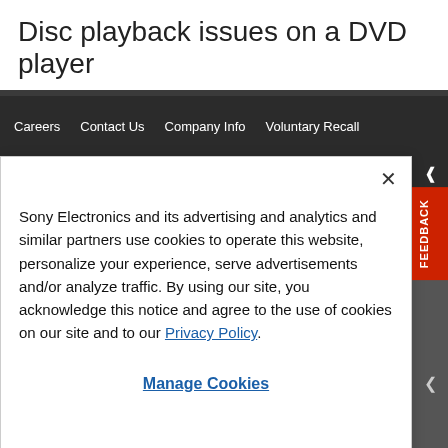Disc playback issues on a DVD player
Careers  Contact Us  Company Info  Voluntary Recall
Sony Electronics and its advertising and analytics and similar partners use cookies to operate this website, personalize your experience, serve advertisements and/or analyze traffic. By using our site, you acknowledge this notice and agree to the use of cookies on our site and to our Privacy Policy.
Manage Cookies